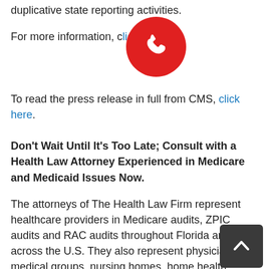duplicative state reporting activities.
For more information, click here.
To read the press release in full from CMS, click here.
Don't Wait Until It's Too Late; Consult with a Health Law Attorney Experienced in Medicare and Medicaid Issues Now.
The attorneys of The Health Law Firm represent healthcare providers in Medicare audits, ZPIC audits and RAC audits throughout Florida and across the U.S. They also represent physicians, medical groups, nursing homes, home health agencies, pharmacies, hospitals and other healthcare providers and institutions in Medicare and Medicaid investigations, audits, recovery actions and termination from the Medicare and Medicaid Program.
For more information please visit our website at